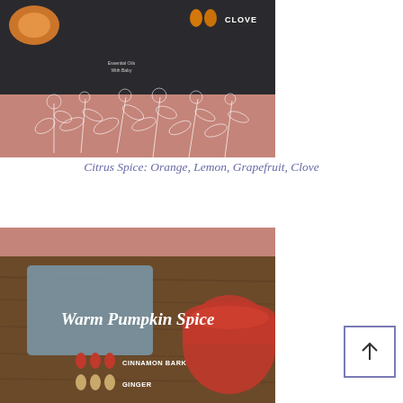[Figure (photo): Top image showing Citrus Spice blend: dark background with orange slices, clove text, small branding text, and a mauve/pink bottom section with white botanical line drawings of flowers and leaves]
Citrus Spice: Orange, Lemon, Grapefruit, Clove
[Figure (photo): Bottom image showing Warm Pumpkin Spice blend: wooden table background with a grey folder and red mug, white script text reading 'Warm Pumpkin Spice', three red drop icons labeled CINNAMON BARK, three tan drop icons labeled GINGER, with a mauve pink header band at top]
[Figure (other): Scroll-to-top button: square with upward arrow icon, outlined in purple/indigo border]